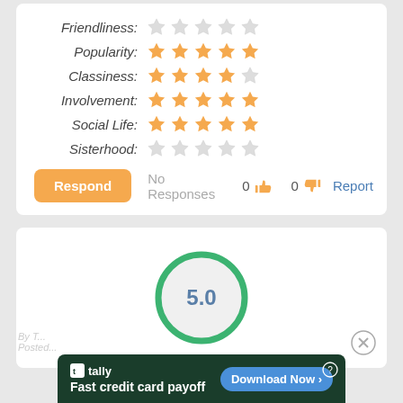[Figure (infographic): Rating rows with star icons for Friendliness (0/5 stars), Popularity (5/5 stars), Classiness (4/5 stars), Involvement (5/5 stars), Social Life (5/5 stars), Sisterhood (0/5 stars)]
Respond | No Responses | 0 thumbs up | 0 thumbs down | Report
[Figure (infographic): Score circle with green border showing 5.0 in blue-gray text on light gray background]
[Figure (infographic): Advertisement banner: tally logo, Fast credit card payoff, Download Now button, help icon]